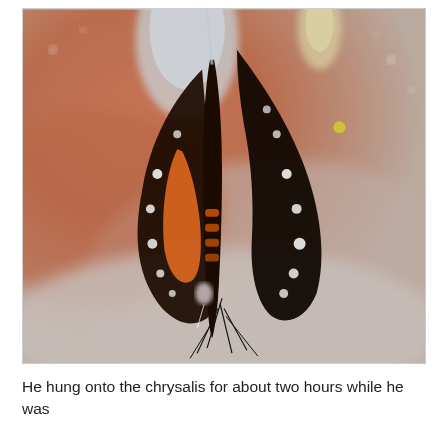[Figure (photo): Close-up macro photograph of a monarch butterfly emerging from its chrysalis. The butterfly is hanging upside down, its black wings with white spots visible against a blurred reddish-brown and grey background. The translucent chrysalis casing is visible at the top. The butterfly's orange and black body is in the center.]
He hung onto the chrysalis for about two hours while he was